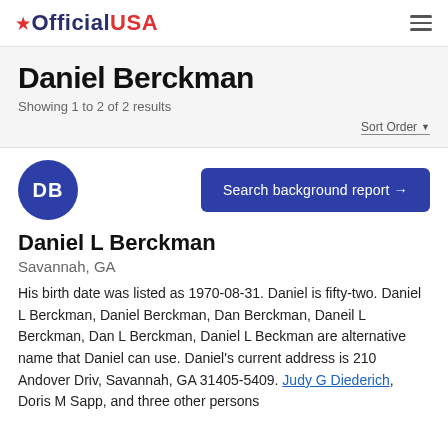OfficialUSA
Daniel Berckman
Showing 1 to 2 of 2 results
Sort Order
[Figure (other): Circular avatar with initials DB in dark blue]
Search background report →
Daniel L Berckman
Savannah, GA
His birth date was listed as 1970-08-31. Daniel is fifty-two. Daniel L Berckman, Daniel Berckman, Dan Berckman, Daneil L Berckman, Dan L Berckman, Daniel L Beckman are alternative name that Daniel can use. Daniel's current address is 210 Andover Driv, Savannah, GA 31405-5409. Judy G Diederich, Doris M Sapp, and three other persons